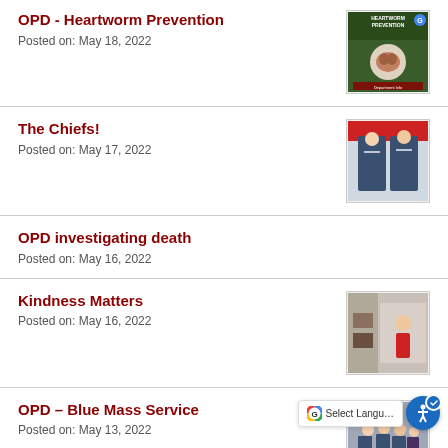OPD - Heartworm Prevention
Posted on: May 18, 2022
[Figure (photo): Heartworm Prevention flyer thumbnail]
The Chiefs!
Posted on: May 17, 2022
[Figure (photo): Two police chiefs standing together photo thumbnail]
OPD investigating death
Posted on: May 16, 2022
Kindness Matters
Posted on: May 16, 2022
[Figure (photo): Kindness Matters event photo thumbnail]
OPD – Blue Mass Service
Posted on: May 13, 2022
[Figure (photo): Blue Mass Service photo thumbnail]